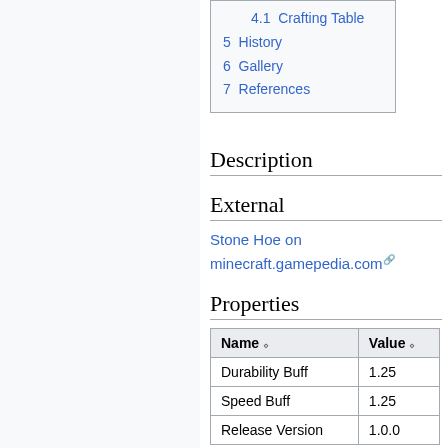4.1 Crafting Table
5 History
6 Gallery
7 References
Description
External
Stone Hoe on minecraft.gamepedia.com
Properties
| Name | Value |
| --- | --- |
| Durability Buff | 1.25 |
| Speed Buff | 1.25 |
| Release Version | 1.0.0 |